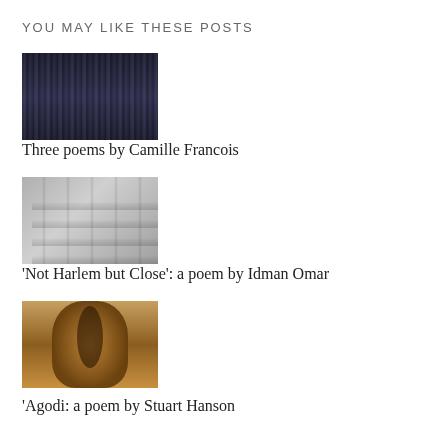YOU MAY LIKE THESE POSTS
[Figure (photo): Dark abstract curtain-like vertical streaks of light and shadow against a dark background]
Three poems by Camille Francois
[Figure (photo): Black and white photo of a brutalist building facade with balconies and glass windows viewed from below at an angle]
‘Not Harlem but Close’: a poem by Idman Omar
[Figure (photo): Close-up photo of an aged/vintage Fender Stratocaster electric guitar in warm golden-brown tones]
‘Agodi: a poem by Stuart Hanson